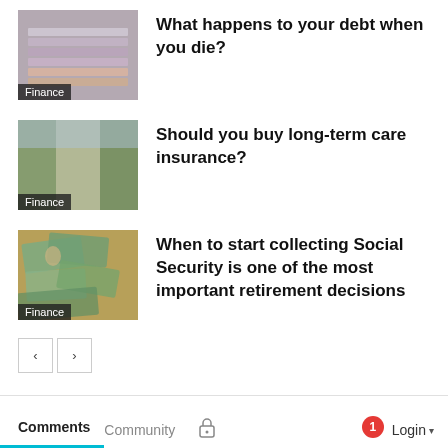[Figure (photo): Blurred stack of papers/folders, finance category thumbnail]
Finance
What happens to your debt when you die?
[Figure (photo): Outdoor walkway with trees, finance category thumbnail]
Finance
Should you buy long-term care insurance?
[Figure (photo): Dollar bills scattered, finance category thumbnail]
Finance
When to start collecting Social Security is one of the most important retirement decisions
Comments  Community  Login